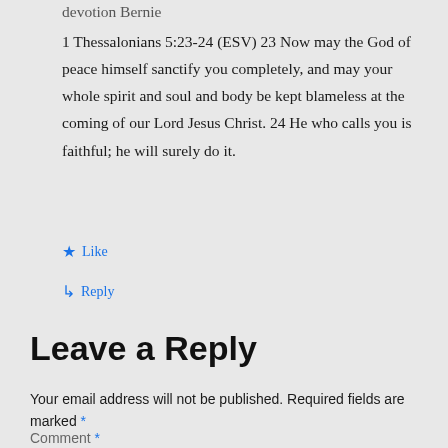devotion Bernie
1 Thessalonians 5:23-24 (ESV) 23 Now may the God of peace himself sanctify you completely, and may your whole spirit and soul and body be kept blameless at the coming of our Lord Jesus Christ. 24 He who calls you is faithful; he will surely do it.
Like
Reply
Leave a Reply
Your email address will not be published. Required fields are marked *
Comment *